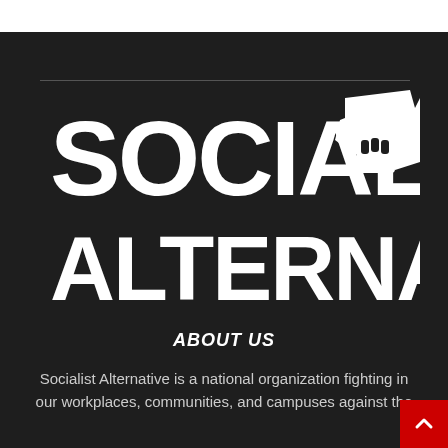[Figure (logo): Socialist Alternative logo with bold white uppercase text 'SOCIALIST ALTERNATIVE' and a raised fist icon to the right of 'SOCIALIST', on a dark background]
ABOUT US
Socialist Alternative is a national organization fighting in our workplaces, communities, and campuses against the